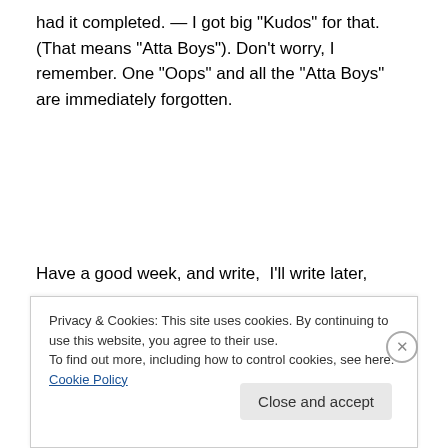had it completed.  —  I got big “Kudos” for that. (That means “Atta Boys”).  Don’t worry, I remember.  One “Oops” and all the “Atta Boys” are immediately forgotten.
Have a good week, and write,  I’ll write later,

Your friendly Dell Programmer,

Kevin James Breazile
Privacy & Cookies: This site uses cookies. By continuing to use this website, you agree to their use.
To find out more, including how to control cookies, see here: Cookie Policy